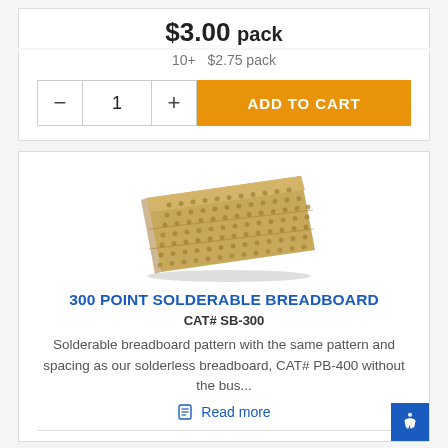$3.00 pack
10+   $2.75 pack
[Figure (screenshot): Add to cart quantity selector with minus button, quantity field showing 1, plus button, and orange ADD TO CART button]
[Figure (photo): 300 Point Solderable Breadboard product photo - a gold/tan rectangular PCB board with dot matrix pattern]
300 POINT SOLDERABLE BREADBOARD
CAT# SB-300
Solderable breadboard pattern with the same pattern and spacing as our solderless breadboard, CAT# PB-400 without the bus...
Read more